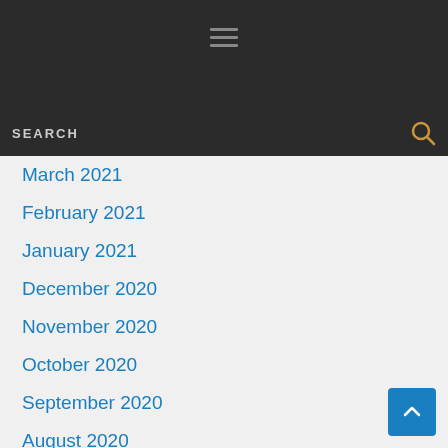Navigation header with hamburger menu icon
SEARCH
March 2021
February 2021
January 2021
December 2020
November 2020
October 2020
September 2020
August 2020
July 2020
June 2020
May 2020
April 2020